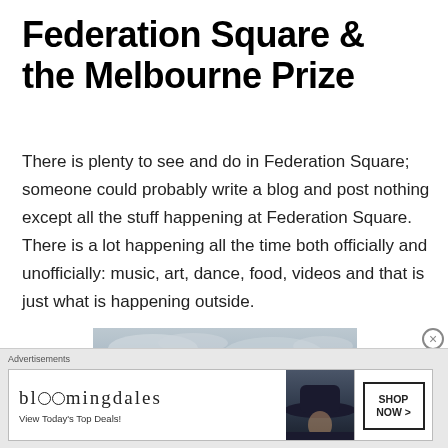Federation Square & the Melbourne Prize
There is plenty to see and do in Federation Square; someone could probably write a blog and post nothing except all the stuff happening at Federation Square. There is a lot happening all the time both officially and unofficially: music, art, dance, food, videos and that is just what is happening outside.
[Figure (photo): Outdoor photo with cloudy sky, red flags on poles, and a dark sign board in the background — appears to be Federation Square Melbourne]
Advertisements
[Figure (other): Bloomingdale's advertisement banner: 'View Today's Top Deals!' with a woman wearing a wide-brim hat and a 'SHOP NOW >' button]